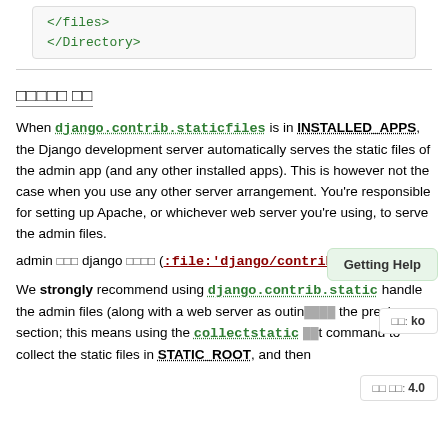</files>
</Directory>
정적 파일 제공 (관리자)
When django.contrib.staticfiles is in INSTALLED_APPS, the Django development server automatically serves the static files of the admin app (and any other installed apps). This is however not the case when you use any other server arrangement. You're responsible for setting up Apache, or whichever web server you're using, to serve the admin files.
admin 파일은 django 패키지에 (:file:'django/contrib/admin/st ... 있습니다.
We strongly recommend using django.contrib.static... handle the admin files (along with a web server as outlined in the previous section; this means using the collectstatic... command to collect the static files in STATIC_ROOT, and then